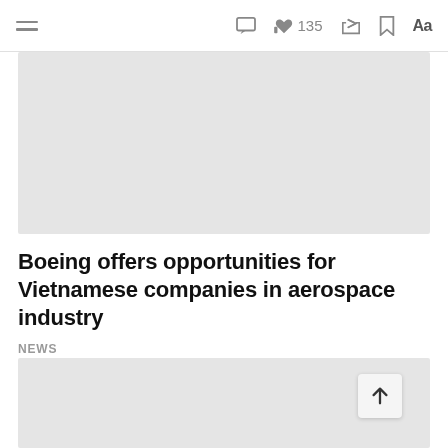≡  [comment icon]  👍 135  [share icon]  [bookmark icon]  Aa
[Figure (photo): Top image placeholder, light gray rectangle]
Boeing offers opportunities for Vietnamese companies in aerospace industry
NEWS
[Figure (photo): Bottom image placeholder, light gray rectangle, partially visible]